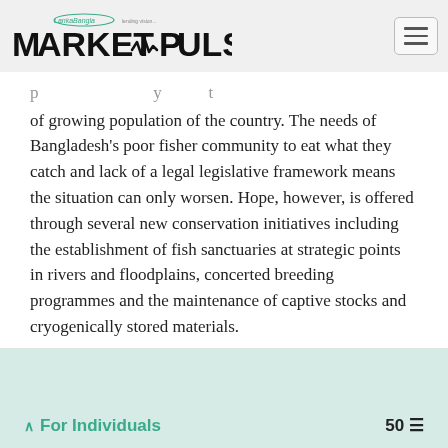LankaBangla Market Pulse
of growing population of the country. The needs of Bangladesh's poor fisher community to eat what they catch and lack of a legal legislative framework means the situation can only worsen. Hope, however, is offered through several new conservation initiatives including the establishment of fish sanctuaries at strategic points in rivers and floodplains, concerted breeding programmes and the maintenance of captive stocks and cryogenically stored materials.
For Individuals  50